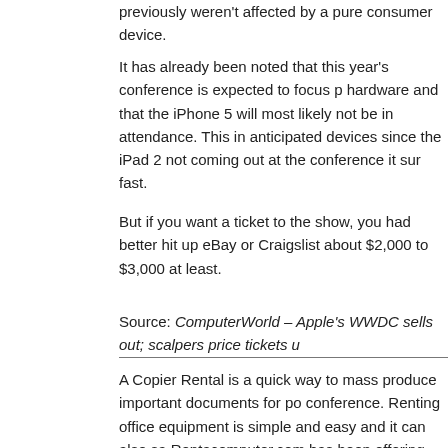previously weren't affected by a pure consumer device.
It has already been noted that this year's conference is expected to focus p... hardware and that the iPhone 5 will most likely not be in attendance. This in... anticipated devices since the iPad 2 not coming out at the conference it sur... fast.
But if you want a ticket to the show, you had better hit up eBay or Craigslist... about $2,000 to $3,000 at least.
Source: ComputerWorld – Apple's WWDC sells out; scalpers price tickets u...
A Copier Rental is a quick way to mass produce important documents for po... conference. Renting office equipment is simple and easy and it can also sa... Rentacomputer.com has been offering copier rentals to more than 1000 citi...
Continue reading...
Steve Jobs Has Some Harsh Words fo... PC Market
Posted by Zduncan | Posted in Computer, Device, iPad, IPad | Posted on 03-03-...
Tags: ASUS, Dell, Dell Streak, Fuiitsu, Fuiitsu Lifebook T900 Tablet PC, HP,...